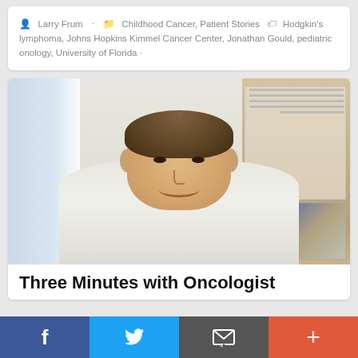Larry Frum · Childhood Cancer, Patient Stories · Hodgkin's lymphoma, Johns Hopkins Kimmel Cancer Center, Jonathan Gould, pediatric onology, University of Florida ·
[Figure (photo): A middle-aged man in a white button-down shirt sitting at a desk in an office, smiling at the camera. Behind him are a bulletin board with papers, a window showing a city view, and office materials.]
Three Minutes with Oncologist